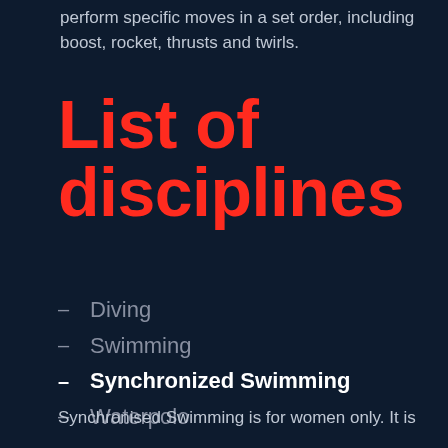perform specific moves in a set order, including boost, rocket, thrusts and twirls.
List of disciplines
– Diving
– Swimming
– Synchronized Swimming
– Waterpolo
Synchronised Swimming is for women only. It is